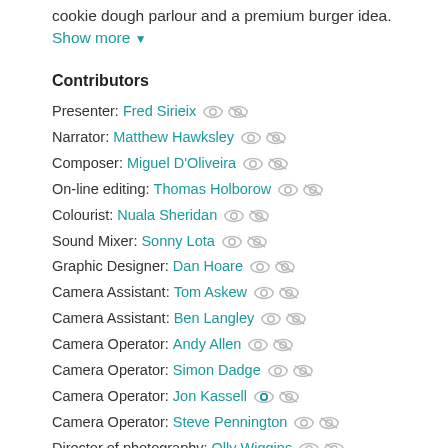cookie dough parlour and a premium burger idea. Show more
Contributors
Presenter: Fred Sirieix
Narrator: Matthew Hawksley
Composer: Miguel D'Oliveira
On-line editing: Thomas Holborow
Colourist: Nuala Sheridan
Sound Mixer: Sonny Lota
Graphic Designer: Dan Hoare
Camera Assistant: Tom Askew
Camera Assistant: Ben Langley
Camera Operator: Andy Allen
Camera Operator: Simon Dadge
Camera Operator: Jon Kassell
Camera Operator: Steve Pennington
Director of photography: Olly Wiggins
Sound: Chris Box